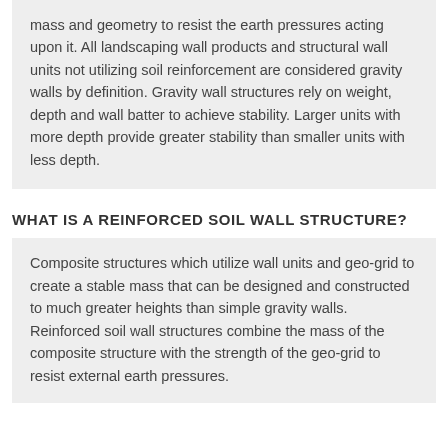mass and geometry to resist the earth pressures acting upon it. All landscaping wall products and structural wall units not utilizing soil reinforcement are considered gravity walls by definition. Gravity wall structures rely on weight, depth and wall batter to achieve stability. Larger units with more depth provide greater stability than smaller units with less depth.
WHAT IS A REINFORCED SOIL WALL STRUCTURE?
Composite structures which utilize wall units and geo-grid to create a stable mass that can be designed and constructed to much greater heights than simple gravity walls. Reinforced soil wall structures combine the mass of the composite structure with the strength of the geo-grid to resist external earth pressures.